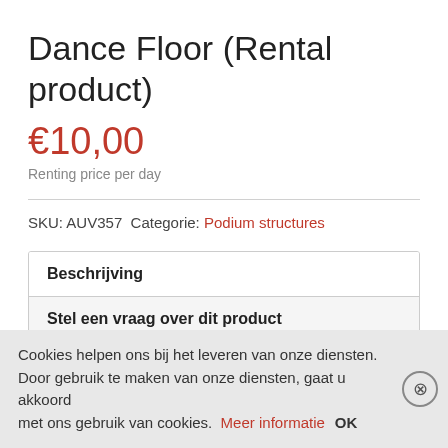Dance Floor (Rental product)
€10,00
Renting price per day
SKU: AUV357  Categorie: Podium structures
Beschrijving
Stel een vraag over dit product
Cookies helpen ons bij het leveren van onze diensten. Door gebruik te maken van onze diensten, gaat u akkoord met ons gebruik van cookies. Meer informatie  OK